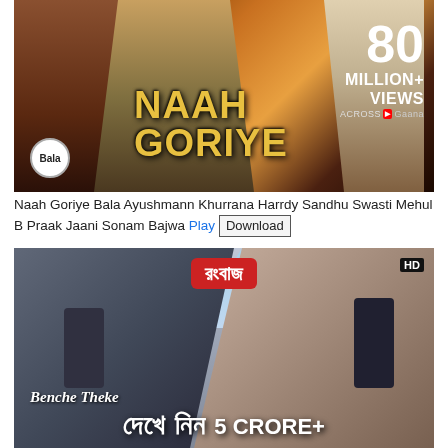[Figure (photo): Thumbnail for 'Naah Goriye' music video from movie Bala featuring Ayushmann Khurrana, Harrdy Sandhu, Swasti Mehul. Shows three people in formal/glamorous attire with golden text 'NAAH GORIYE' and '80 MILLION+ VIEWS ACROSS YouTube Gaana' badge.]
Naah Goriye Bala Ayushmann Khurrana Harrdy Sandhu Swasti Mehul B Praak Jaani Sonam Bajwa Play Download
[Figure (photo): Thumbnail for 'Rong Baaz' Bengali movie showing a man and woman sitting in a convertible car. Bengali title 'রংবাজ' in red logo at top center, HD badge top right, italic text 'Benche Theke' and large Bengali/Hindi text at bottom with '5 CRORE+' views indicator.]